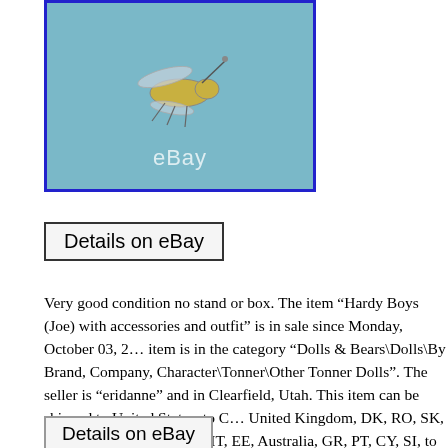[Figure (photo): Photo of a toy insect/helicopter figure against a blue background with eBay watermark]
Details on eBay
Very good condition no stand or box. The item “Hardy Boys (Joe) with accessories and outfit” is in sale since Monday, October 03, 2… item is in the category “Dolls & Bears\Dolls\By Brand, Company, Character\Tonner\Other Tonner Dolls”. The seller is “eridanne” and in Clearfield, Utah. This item can be shipped to United States, to C… United Kingdom, DK, RO, SK, BG, CZ, FI, HU, LV, LT, MT, EE, Australia, GR, PT, CY, SI, to Japan, to China, SE, KR, ID, to Taiwa… Belgium, to France, to Hong Kong, to Ireland, to Netherlands, PL, to Italy, to Germany, to Austria, RU, IL, to Mexico, to New Zealan… to Switzerland, NO, SA, UA, AE, QA, KW, BH, HR, MY, CL, CO TT, GT, HN, JM.
Details on eBay